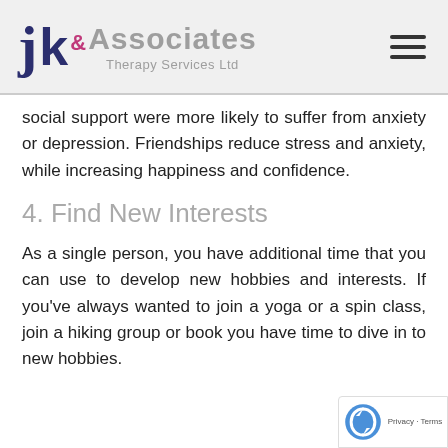jk& Associates Therapy Services Ltd
social support were more likely to suffer from anxiety or depression. Friendships reduce stress and anxiety, while increasing happiness and confidence.
4. Find New Interests
As a single person, you have additional time that you can use to develop new hobbies and interests. If you've always wanted to join a yoga or a spin class, join a hiking group or book you have time to dive in to new hobbies.